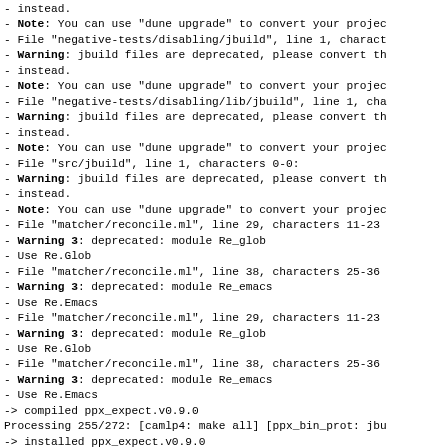- instead.
- Note: You can use "dune upgrade" to convert your project
- File "negative-tests/disabling/jbuild", line 1, charact
- Warning: jbuild files are deprecated, please convert th
- instead.
- Note: You can use "dune upgrade" to convert your projec
- File "negative-tests/disabling/lib/jbuild", line 1, cha
- Warning: jbuild files are deprecated, please convert th
- instead.
- Note: You can use "dune upgrade" to convert your projec
- File "src/jbuild", line 1, characters 0-0:
- Warning: jbuild files are deprecated, please convert th
- instead.
- Note: You can use "dune upgrade" to convert your projec
- File "matcher/reconcile.ml", line 29, characters 11-23
- Warning 3: deprecated: module Re_glob
- Use Re.Glob
- File "matcher/reconcile.ml", line 38, characters 25-36
- Warning 3: deprecated: module Re_emacs
- Use Re.Emacs
- File "matcher/reconcile.ml", line 29, characters 11-23
- Warning 3: deprecated: module Re_glob
- Use Re.Glob
- File "matcher/reconcile.ml", line 38, characters 25-36
- Warning 3: deprecated: module Re_emacs
- Use Re.Emacs
-> compiled  ppx_expect.v0.9.0
Processing 255/272: [camlp4: make all] [ppx_bin_prot: jbu
-> installed ppx_expect.v0.9.0
Processing 256/272: [camlp4: make all] [ppx_bin_prot: jbu